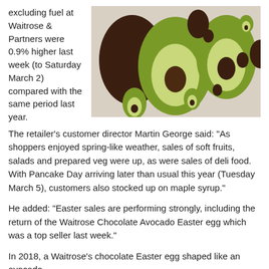excluding fuel at Waitrose & Partners were 0.9% higher last week (to Saturday March 2) compared with the same period last year.
[Figure (photo): Chocolate Easter eggs shaped like avocados, green and brown, various sizes arranged on a light surface.]
The retailer’s customer director Martin George said: “As shoppers enjoyed spring-like weather, sales of soft fruits, salads and prepared veg were up, as were sales of deli food. With Pancake Day arriving later than usual this year (Tuesday March 5), customers also stocked up on maple syrup.”
He added: “Easter sales are performing strongly, including the return of the Waitrose Chocolate Avocado Easter egg which was a top seller last week.”
In 2018, a Waitrose’s chocolate Easter egg shaped like an avocado